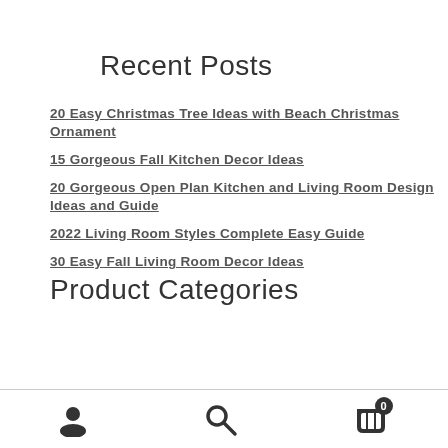Recent Posts
20 Easy Christmas Tree Ideas with Beach Christmas Ornament
15 Gorgeous Fall Kitchen Decor Ideas
20 Gorgeous Open Plan Kitchen and Living Room Design Ideas and Guide
2022 Living Room Styles Complete Easy Guide
30 Easy Fall Living Room Decor Ideas
Product Categories
User icon | Search icon | Cart icon with badge 0